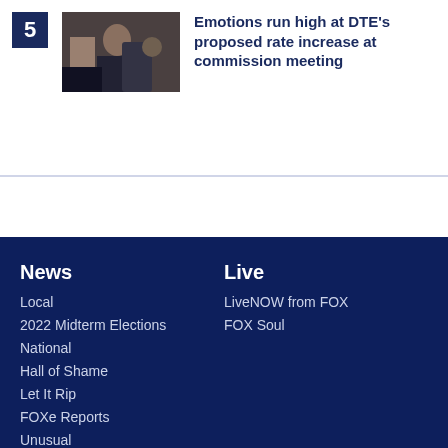5
[Figure (photo): Person at a public meeting, gesturing expressively]
Emotions run high at DTE's proposed rate increase at commission meeting
News
Local
2022 Midterm Elections
National
Hall of Shame
Let It Rip
FOXe Reports
Unusual
Business
Things to Do
Live
LiveNOW from FOX
FOX Soul